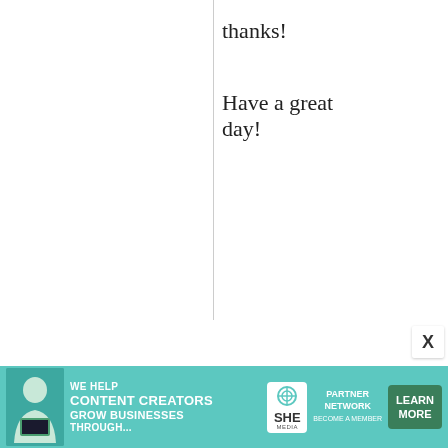thanks!
Have a great day!
kerri
20 August, 2008 - 22:24
permalink
just found
[Figure (other): Black video embed or media player overlay]
pasting like a fool. I
can't wait to share it
[Figure (other): SHE Media Partner Network advertisement banner with woman with laptop, text: WE HELP CONTENT CREATORS GROW BUSINESSES THROUGH... with LEARN MORE button]